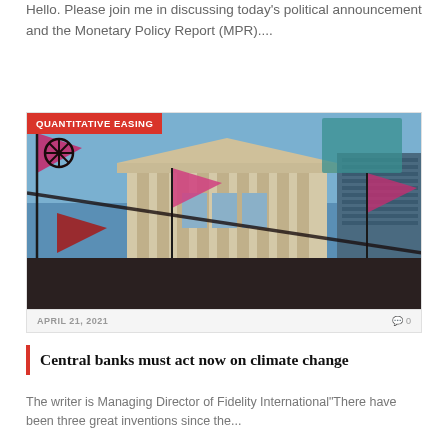Hello. Please join me in discussing today’s political announcement and the Monetary Policy Report (MPR)....
[Figure (photo): Protest scene outside a neoclassical building (likely the Bank of England) with pink Extinction Rebellion flags and banners visible in the foreground, crowd of protesters, blue sky in background. Overlaid red badge reading QUANTITATIVE EASING.]
APRIL 21, 2021
Central banks must act now on climate change
The writer is Managing Director of Fidelity International“There have been three great inventions since the...